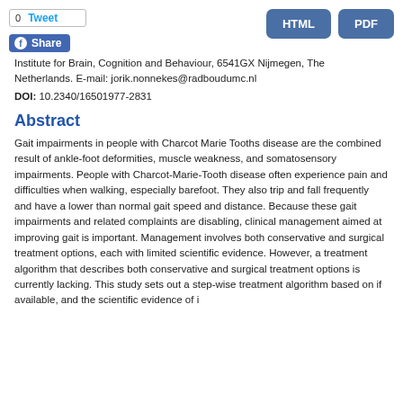0 Tweet | Share | HTML | PDF
Institute for Brain, Cognition and Behaviour, 6541GX Nijmegen, The Netherlands. E-mail: jorik.nonnekes@radboudumc.nl
DOI: 10.2340/16501977-2831
Abstract
Gait impairments in people with Charcot Marie Tooths disease are the combined result of ankle-foot deformities, muscle weakness, and somatosensory impairments. People with Charcot-Marie-Tooth disease often experience pain and difficulties when walking, especially barefoot. They also trip and fall frequently and have a lower than normal gait speed and distance. Because these gait impairments and related complaints are disabling, clinical management aimed at improving gait is important. Management involves both conservative and surgical treatment options, each with limited scientific evidence. However, a treatment algorithm that describes both conservative and surgical treatment options is currently lacking. This study sets out a step-wise treatment algorithm based on if available, and the scientific evidence